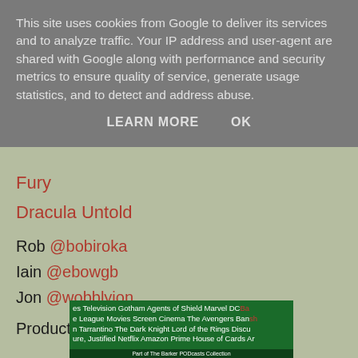This site uses cookies from Google to deliver its services and to analyze traffic. Your IP address and user-agent are shared with Google along with performance and security metrics to ensure quality of service, generate usage statistics, and to detect and address abuse.
LEARN MORE   OK
Fury
Dracula Untold
Rob @bobiroka
Iain @ebowgb
Jon @wobblyjon
Production by Jon Marson
[Figure (screenshot): Green tag cloud image with white and red text showing TV and movie related words like Television Gotham Agents of Shield Marvel DC, League Movies Screen Cinema The Avengers, Tarrantino The Dark Knight Lord of the Rings, Justified Netflix Amazon Prime House of Cards. Bottom bar reads: Part of The Barker PODcasts Collection]